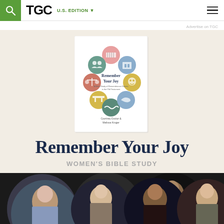TGC  U.S. EDITION
Advertise on TGC
[Figure (illustration): Book cover for 'Remember Your Joy' women's bible study by Courtney Doctor and Melissa Kruger, showing colorful illustrated circular icons on a white cover]
Remember Your Joy
WOMEN'S BIBLE STUDY FEATURES 7 VIDEO TALKS
[Figure (photo): Row of five circular portrait photos of speakers/contributors: woman speaking at podium, older man gesturing, woman with microphone smiling, blonde woman, and woman in white blazer]